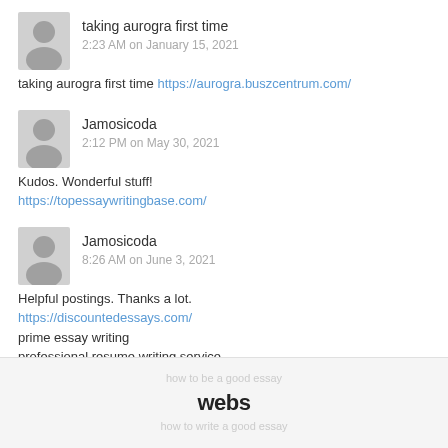taking aurogra first time
2:23 AM on January 15, 2021
taking aurogra first time https://aurogra.buszcentrum.com/
Jamosicoda
2:12 PM on May 30, 2021
Kudos. Wonderful stuff!
https://topessaywritingbase.com/
Jamosicoda
8:26 AM on June 3, 2021
Helpful postings. Thanks a lot.
https://discountedessays.com/
prime essay writing
professional resume writing service
webs